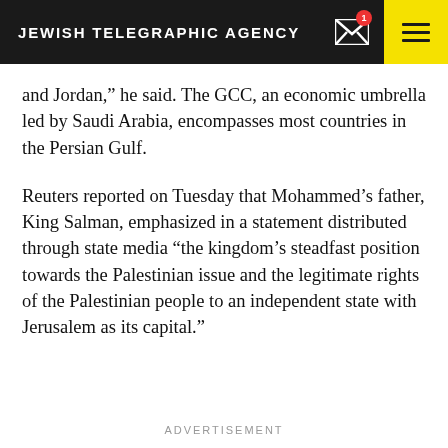JEWISH TELEGRAPHIC AGENCY
and Jordan,” he said. The GCC, an economic umbrella led by Saudi Arabia, encompasses most countries in the Persian Gulf.
Reuters reported on Tuesday that Mohammed’s father, King Salman, emphasized in a statement distributed through state media “the kingdom’s steadfast position towards the Palestinian issue and the legitimate rights of the Palestinian people to an independent state with Jerusalem as its capital.”
ADVERTISEMENT